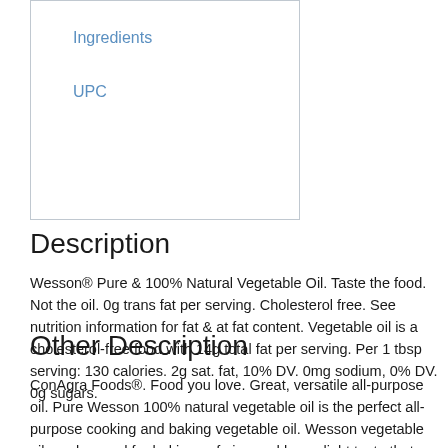Ingredients
UPC
Description
Wesson® Pure & 100% Natural Vegetable Oil. Taste the food. Not the oil. 0g trans fat per serving. Cholesterol free. See nutrition information for fat & at fat content. Vegetable oil is a cholesterol-free food with 14g total fat per serving. Per 1 tbsp serving: 130 calories. 2g sat. fat, 10% DV. 0mg sodium, 0% DV. 0g sugars.
Other Description
ConAgra Foods®. Food you love. Great, versatile all-purpose oil. Pure Wesson 100% natural vegetable oil is the perfect all-purpose cooking and baking vegetable oil. Wesson vegetable oil can be used for baking or frying and has a light taste that lets your cooking flavors shine through. Taste the food not the